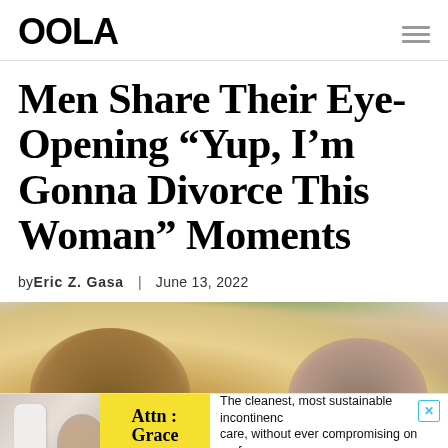OOLA
Men Share Their Eye-Opening “Yup, I’m Gonna Divorce This Woman” Moments
by Eric Z. Gasa | June 13, 2022
[Figure (photo): A man and woman couple in a tense scene, blurred background with a plant, suggesting a conflict or difficult conversation.]
[Figure (infographic): Advertisement banner: Attn: Grace product ad. Text reads: The cleanest, most sustainable incontinence care, without ever compromising on performance.]